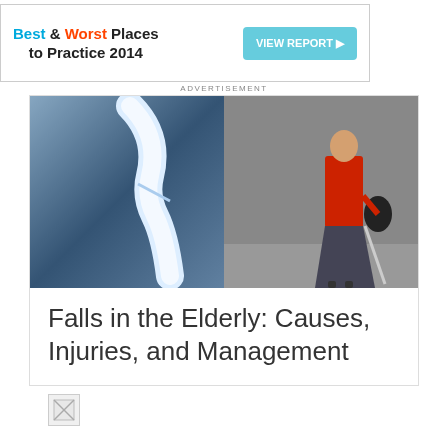[Figure (other): Advertisement banner: Best & Worst Places to Practice 2014 with VIEW REPORT button]
ADVERTISEMENT
[Figure (photo): Composite image: left side shows an X-ray of a fractured bone (blue-tinted), right side shows an elderly woman in a red coat walking with a cane on a grey street]
Falls in the Elderly: Causes, Injuries, and Management
[Figure (other): Broken image placeholder icon]